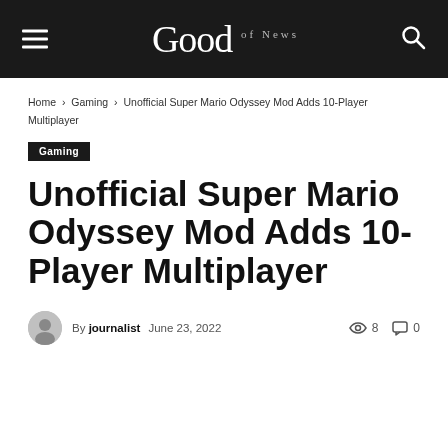Good of News
Home › Gaming › Unofficial Super Mario Odyssey Mod Adds 10-Player Multiplayer
Gaming
Unofficial Super Mario Odyssey Mod Adds 10-Player Multiplayer
By journalist  June 23, 2022  8  0